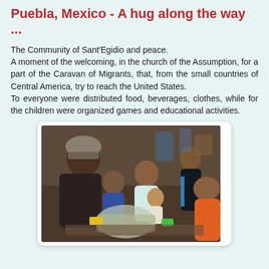Puebla, Mexico - A hug along the way ...
The Community of Sant'Egidio and peace.
A moment of the welcoming, in the church of the Assumption, for a part of the Caravan of Migrants, that, from the small countries of Central America, try to reach the United States.
To everyone were distributed food, beverages, clothes, while for the children were organized games and educational activities.
[Figure (photo): Group of people including children and adults gathered indoors, likely at a church, receiving aid items such as toys and bags.]